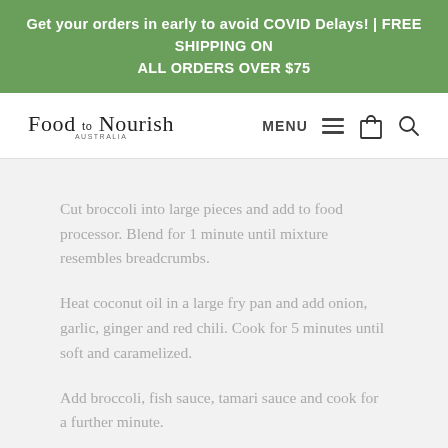Get your orders in early to avoid COVID Delays! | FREE SHIPPING ON ALL ORDERS OVER $75
[Figure (logo): Food to Nourish Australia logo with navigation menu, bag icon, and search icon]
Cut broccoli into large pieces and add to food processor. Blend for 1 minute until mixture resembles breadcrumbs.
Heat coconut oil in a large fry pan and add onion, garlic, ginger and red chili. Cook for 5 minutes until soft and caramelized.
Add broccoli, fish sauce, tamari sauce and cook for a further minute.